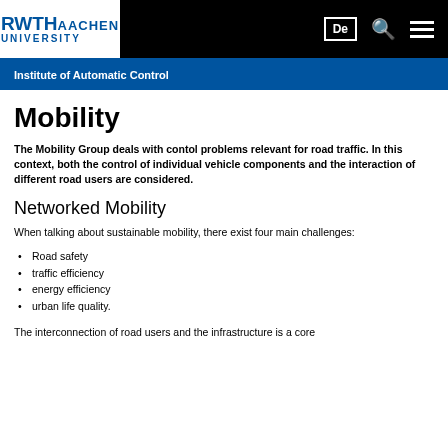RWTH AACHEN UNIVERSITY — Institute of Automatic Control
Mobility
The Mobility Group deals with contol problems relevant for road traffic. In this context, both the control of individual vehicle components and the interaction of different road users are considered.
Networked Mobility
When talking about sustainable mobility, there exist four main challenges:
Road safety
traffic efficiency
energy efficiency
urban life quality.
The interconnection of road users and the infrastructure is a core